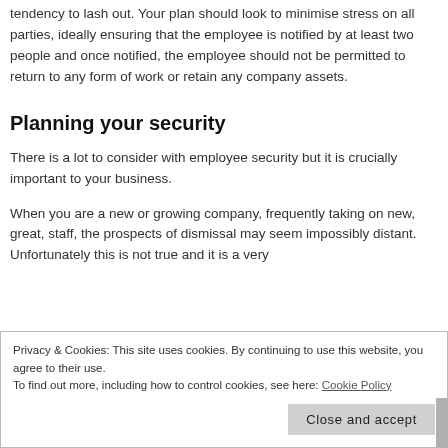tendency to lash out. Your plan should look to minimise stress on all parties, ideally ensuring that the employee is notified by at least two people and once notified, the employee should not be permitted to return to any form of work or retain any company assets.
Planning your security
There is a lot to consider with employee security but it is crucially important to your business.
When you are a new or growing company, frequently taking on new, great, staff, the prospects of dismissal may seem impossibly distant. Unfortunately this is not true and it is a very
Privacy & Cookies: This site uses cookies. By continuing to use this website, you agree to their use.
To find out more, including how to control cookies, see here: Cookie Policy
Close and accept